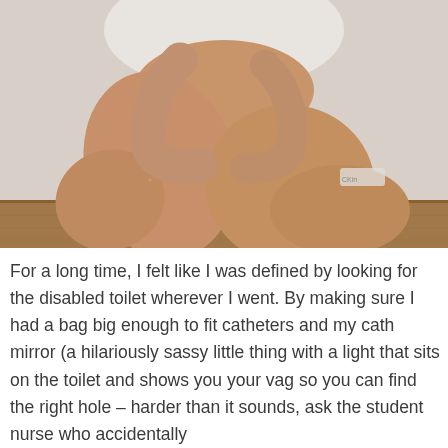[Figure (photo): A person sitting on a wooden floor against a white wall, wearing a white top and underwear, with their legs pulled up and arms wrapped around their knees. The image is cropped to show mainly the legs and lower body.]
For a long time, I felt like I was defined by looking for the disabled toilet wherever I went. By making sure I had a bag big enough to fit catheters and my cath mirror (a hilariously sassy little thing with a light that sits on the toilet and shows you your vag so you can find the right hole – harder than it sounds, ask the student nurse who accidentally